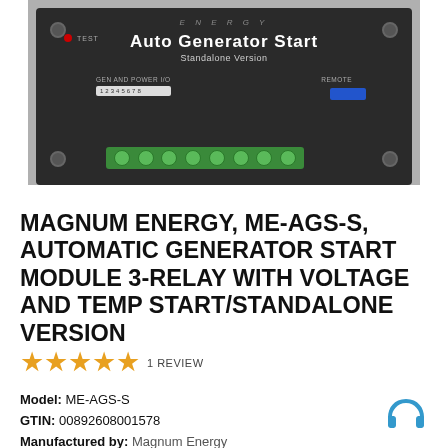[Figure (photo): Photo of Magnum Energy Auto Generator Start Standalone Version device, a dark rectangular electronic module with terminal blocks, LED indicator, and numbered screw terminals labeled GEN AND POWER I/O 1-8, with REMOTE connector in blue, and green terminal block at bottom.]
MAGNUM ENERGY, ME-AGS-S, AUTOMATIC GENERATOR START MODULE 3-RELAY WITH VOLTAGE AND TEMP START/STANDALONE VERSION
★★★★★ 1 REVIEW
Model: ME-AGS-S
GTIN: 00892608001578
Manufactured by: Magnum Energy
Condition: New